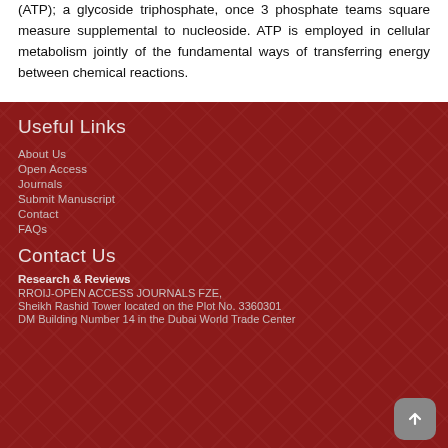(ATP); a glycoside triphosphate, once 3 phosphate teams square measure supplemental to nucleoside. ATP is employed in cellular metabolism jointly of the fundamental ways of transferring energy between chemical reactions.
Useful Links
About Us
Open Access
Journals
Submit Manuscript
Contact
FAQs
Contact Us
Research & Reviews
RROIJ-OPEN ACCESS JOURNALS FZE,
Sheikh Rashid Tower located on the Plot No. 3360301
DM Building Number 14 in the Dubai World Trade Center